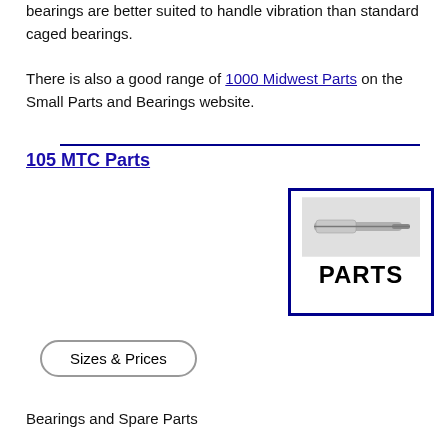bearings are better suited to handle vibration than standard caged bearings.
There is also a good range of 1000 Midwest Parts on the Small Parts and Bearings website.
105 MTC Parts
[Figure (photo): Image of a dental or mechanical handpiece part inside a blue-bordered box with the word PARTS below it]
Sizes & Prices
Bearings and Spare Parts